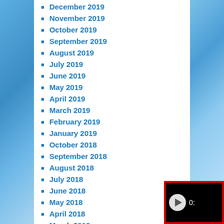December 2019
November 2019
October 2019
September 2019
August 2019
July 2019
June 2019
May 2019
April 2019
March 2019
February 2019
January 2019
October 2018
September 2018
August 2018
July 2018
June 2018
May 2018
April 2018
March 2018
February 2018
January 2018
[Figure (screenshot): Media player widget with red border, black background, circular play button and time display showing 0:]